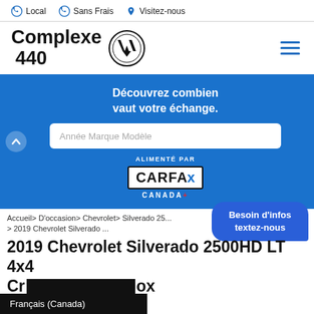Local  Sans Frais  Visitez-nous
[Figure (logo): Complexe 440 Volkswagen logo with VW circle emblem and hamburger menu icon]
[Figure (infographic): Blue section with trade-in value tool: 'Découvrez combien vaut votre échange.' with Année Marque Modèle input and CARFAX Canada logo powered by label]
Accueil> D'occasion> Chevrolet> Silverado 25... > 2019 Chevrolet Silverado ...
2019 Chevrolet Silverado 2500HD LT 4x4 Cr... ox
Besoin d'infos textez-nous
Français (Canada)